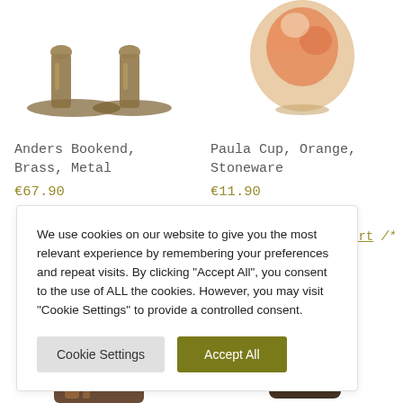[Figure (photo): Brass metal bookend product image - partially cropped at top]
[Figure (photo): Orange stoneware Paula Cup - partially cropped at top]
Anders Bookend, Brass, Metal
€67.90
Paula Cup, Orange, Stoneware
€11.90
We use cookies on our website to give you the most relevant experience by remembering your preferences and repeat visits. By clicking "Accept All", you consent to the use of ALL the cookies. However, you may visit "Cookie Settings" to provide a controlled consent.
Cookie Settings
Accept All
[Figure (photo): Dark brown/copper ceramic product - bottom portion visible]
[Figure (photo): Dark stoneware cup - right side, bottom portion visible]